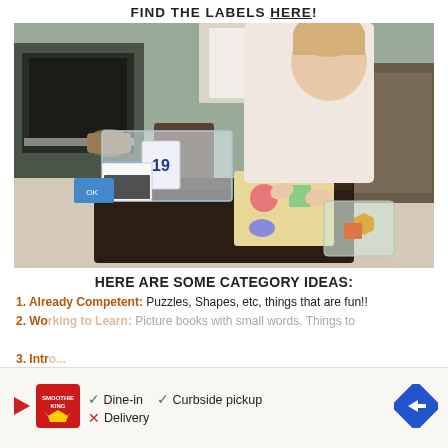FIND THE LABELS HERE!
[Figure (photo): Young boy standing at a dark coffee table, working with educational materials including a shape puzzle board, a clear plastic storage bin containing a number card (19) and other items, a blue tray, and plastic bags with colorful shapes (hexagons, squares). The room has hardwood-look flooring and a fireplace in the background.]
HERE ARE SOME CATEGORY IDEAS:
1. Already Competent: Puzzles, Shapes, etc, things that are fun!!
2. Working to Learn: Picture books with small words. Things to
3. Intro...